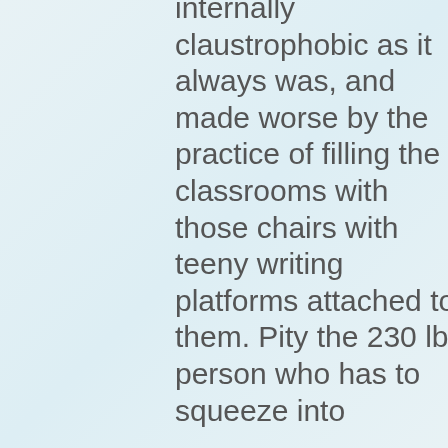internally claustrophobic as it always was, and made worse by the practice of filling the classrooms with those chairs with teeny writing platforms attached to them. Pity the 230 lb person who has to squeeze into